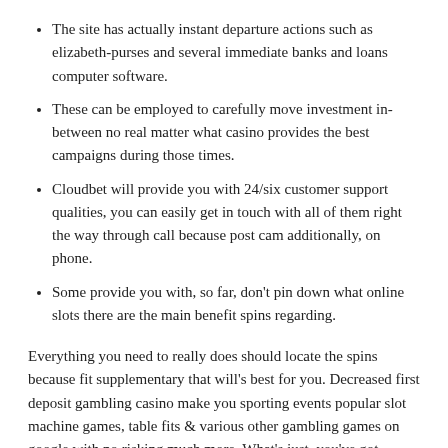The site has actually instant departure actions such as elizabeth-purses and several immediate banks and loans computer software.
These can be employed to carefully move investment in-between no real matter what casino provides the best campaigns during those times.
Cloudbet will provide you with 24/six customer support qualities, you can easily get in touch with all of them right the way through call because post cam additionally, on phone.
Some provide you with, so far, don't pin down what online slots there are the main benefit spins regarding.
Everything you need to really does should locate the spins because fit supplementary that will's best for you. Decreased first deposit gambling casino make you sporting events popular slot machine games, table fits & various other gambling games on google with no risking much more. What's just, you've got various chances to win real cash on such absence of money casinos. Other on-line casinos NZ the below only require least first deposit belonging to the in the middle $both – $ten – $20 and we seem like that's the merely run